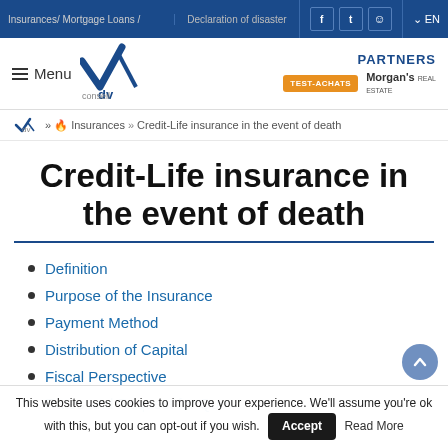Insurances/ Mortgage Loans / | Declaration of disaster | EN
[Figure (logo): vdv conseil logo with checkmark]
PARTNERS TEST-ACHATS Morgan's REAL ESTATE
vdv » Insurances » Credit-Life insurance in the event of death
Credit-Life insurance in the event of death
Definition
Purpose of the Insurance
Payment Method
Distribution of Capital
Fiscal Perspective
Rates and Request for Quotation
This website uses cookies to improve your experience. We'll assume you're ok with this, but you can opt-out if you wish. Accept Read More